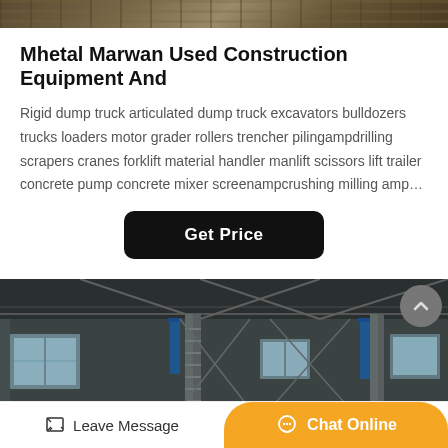[Figure (photo): Top partial photo of construction equipment or machinery, dark brownish tones]
Mhetal Marwan Used Construction Equipment And
Rigid dump truck articulated dump truck excavators bulldozers trucks loaders motor grader rollers trencher pilingampdrilling scrapers cranes forklift material handler manlift scissors lift trailer concrete pump concrete mixer screenampcrushing milling amp…
[Figure (photo): Interior of a large industrial warehouse or steel structure facility with high ceilings, ladders, blue banner signs, and multiple columns]
Leave Message   Chat Online